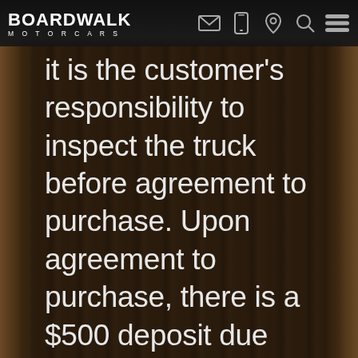BOARDWALK MOTORCARS
it is the customer's responsibility to inspect the truck before agreement to purchase. Upon agreement to purchase, there is a $500 deposit due within 48 hours. The deposit is non refundable unless a major issue was not disclosed by the seller. The remaining